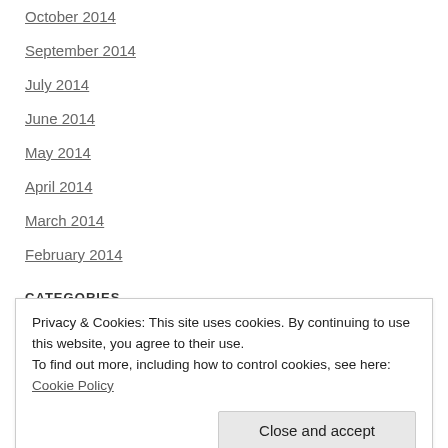October 2014
September 2014
July 2014
June 2014
May 2014
April 2014
March 2014
February 2014
CATEGORIES
KTBR Travel
Privacy & Cookies: This site uses cookies. By continuing to use this website, you agree to their use.
To find out more, including how to control cookies, see here: Cookie Policy
Research